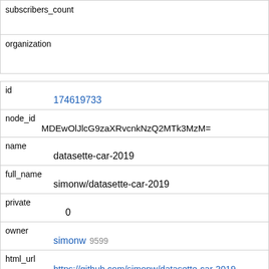| subscribers_count |
| organization |
| id | 174619733 |
| node_id | MDEwOlJlcG9zaXRvcnkNzQ2MTk3MzM= |
| name | datasette-car-2019 |
| full_name | simonw/datasette-car-2019 |
| private | 0 |
| owner | simonw 9599 |
| html_url | https://github.com/simonw/datasette-car-2019 |
| description |  |